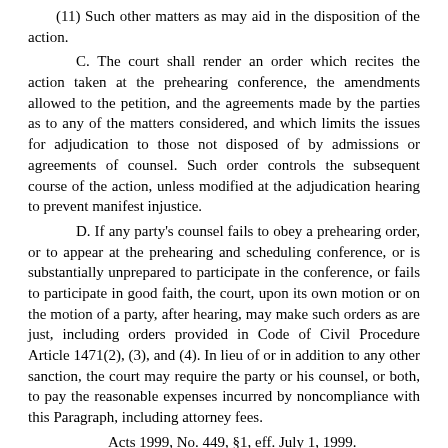(11)  Such other matters as may aid in the disposition of the action.
C.  The court shall render an order which recites the action taken at the prehearing conference, the amendments allowed to the petition, and the agreements made by the parties as to any of the matters considered, and which limits the issues for adjudication to those not disposed of by admissions or agreements of counsel.  Such order controls the subsequent course of the action, unless modified at the adjudication hearing to prevent manifest injustice.
D.  If any party's counsel fails to obey a prehearing order, or to appear at the prehearing and scheduling conference, or is substantially unprepared to participate in the conference, or fails to participate in good faith, the court, upon its own motion or on the motion of a party, after hearing, may make such orders as are just, including orders provided in Code of Civil Procedure Article 1471(2), (3), and (4).  In lieu of or in addition to any other sanction, the court may require the party or his counsel, or both, to pay the reasonable expenses incurred by noncompliance with this Paragraph, including attorney fees.
Acts 1999, No. 449, §1, eff. July 1, 1999.